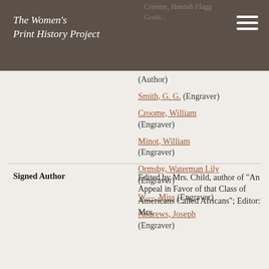The Women's Print History Project
(Author)
Smith, G. G. (Engraver)
Croome, William (Engraver)
Minot, William (Engraver)
Ormsby, Waterman Lily (Engraver)
W—, Miss (Engraver)
Andrews, Joseph (Engraver)
Signed Author
Edited by Mrs. Child, author of "An Appeal in Favor of that Class of Americans Called Africans"; Editor: Mrs.